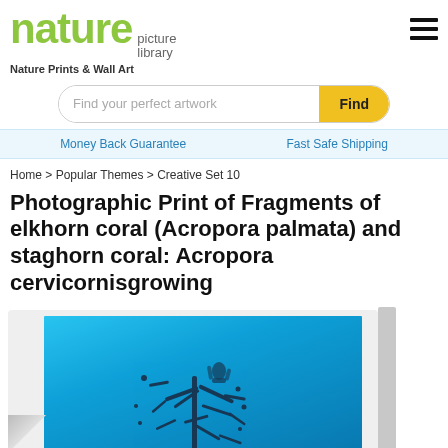nature picture library
Nature Prints & Wall Art
Find your perfect artwork
Money Back Guarantee   Fast Safe Shipping
Home > Popular Themes > Creative Set 10
Photographic Print of Fragments of elkhorn coral (Acropora palmata) and staghorn coral: Acropora cervicornisgrowing
[Figure (photo): Underwater photo of elkhorn and staghorn coral fragments (Acropora palmata and Acropora cervicornis) on a bright blue ocean background, displayed as a photographic print with a curled paper corner effect.]